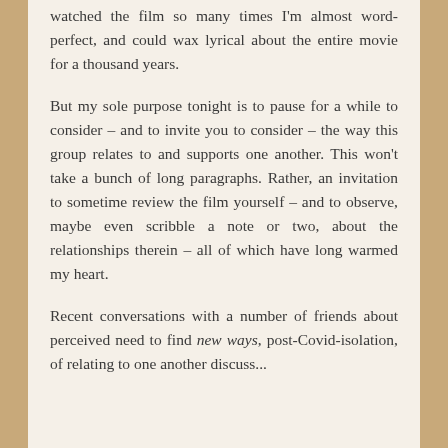watched the film so many times I'm almost word-perfect, and could wax lyrical about the entire movie for a thousand years.
But my sole purpose tonight is to pause for a while to consider – and to invite you to consider – the way this group relates to and supports one another. This won't take a bunch of long paragraphs. Rather, an invitation to sometime review the film yourself – and to observe, maybe even scribble a note or two, about the relationships therein – all of which have long warmed my heart.
Recent conversations with a number of friends about perceived need to find new ways, post-Covid-isolation, of relating to one another discuss...